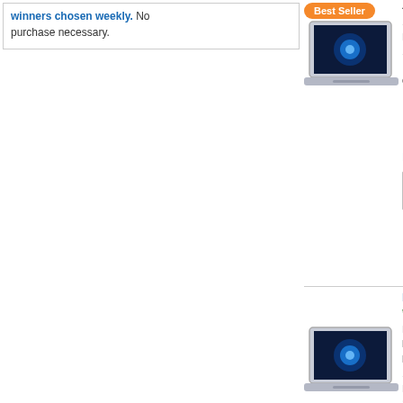Winners chosen weekly. No purchase necessary.
[Figure (photo): HP ProBook laptop with Windows 11 on screen, silver body, angled view]
450 G9 Laptop Intel Core i5-1235U (12th Gen), 16GB of DDR4 RAM - 256 PCIe M.2 SSD, 15.6" 1920 x 1080 Anti-IPS Display, Integrated Intel Iris Xe Gr USB 3.2 Gen 2 Type-C, USB 3.2 ... more
Product Info ▼
[Figure (logo): B&H Photo Video Pro Audio logo]
HP 14" ProBook 440 G9 Multi...
*Save The Tax Instantly! Use B&amp;H
Free Express Shipping! HP 14" ProBook 440 G9 Multi-Touch Laptop (Wi-Fi Only) Intel Core i5-1235U 10-Core (12th Gen), 8GB DDR4 RAM - 256GB PCIe M.2 SSD, 1920 x 1080 IPS Touchscreen, Integrated Intel Iris Xe Graphics, USB 3.2 Gen 2 ... more
Product Info ▼
[Figure (logo): B&H Photo Video Pro Audio logo]
HP 14" ProBook 440 G9 Lapt...
*Save The Tax Instantly! Use B&amp;H
[Pre Order - allow extra time] HP 14" ProBook Intel Core i5-1235U 10-Core (12th Gen), 16GB SSD, 14" 1920 x 1080 Anti-Glare IPS Display USB 3.2 Gen ... more
Product Info ▼